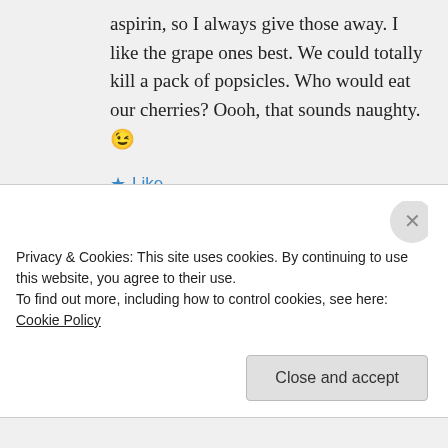aspirin, so I always give those away. I like the grape ones best. We could totally kill a pack of popsicles. Who would eat our cherries? Oooh, that sounds naughty. 😉
★ Like
↪ Reply
Fresh Ginger on June 11, 2013 at 6:19 pm
Privacy & Cookies: This site uses cookies. By continuing to use this website, you agree to their use.
To find out more, including how to control cookies, see here: Cookie Policy
Close and accept